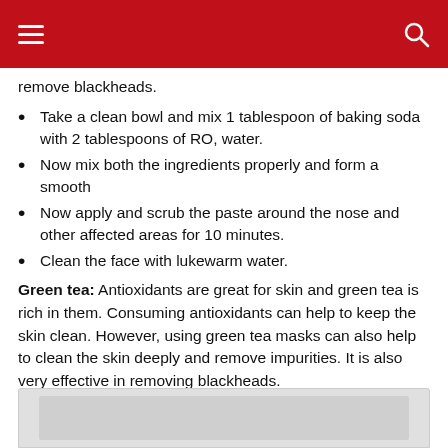remove blackheads.
Take a clean bowl and mix 1 tablespoon of baking soda with 2 tablespoons of RO, water.
Now mix both the ingredients properly and form a smooth
Now apply and scrub the paste around the nose and other affected areas for 10 minutes.
Clean the face with lukewarm water.
Green tea: Antioxidants are great for skin and green tea is rich in them. Consuming antioxidants can help to keep the skin clean. However, using green tea masks can also help to clean the skin deeply and remove impurities. It is also very effective in removing blackheads.
[Figure (photo): Image placeholder at the bottom of the page, partially visible]